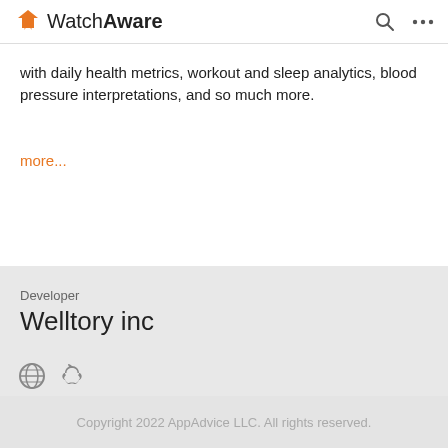WatchAware
with daily health metrics, workout and sleep analytics, blood pressure interpretations, and so much more.
more...
Developer
Welltory inc
Copyright 2022 AppAdvice LLC. All rights reserved.